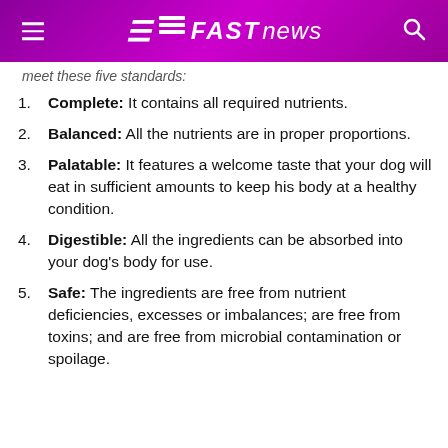FAST NEWS
meet these five standards:
Complete: It contains all required nutrients.
Balanced: All the nutrients are in proper proportions.
Palatable: It features a welcome taste that your dog will eat in sufficient amounts to keep his body at a healthy condition.
Digestible: All the ingredients can be absorbed into your dog's body for use.
Safe: The ingredients are free from nutrient deficiencies, excesses or imbalances; are free from toxins; and are free from microbial contamination or spoilage.